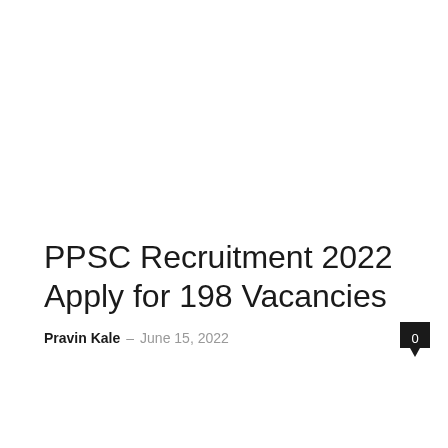PPSC Recruitment 2022 Apply for 198 Vacancies
Pravin Kale  –  June 15, 2022